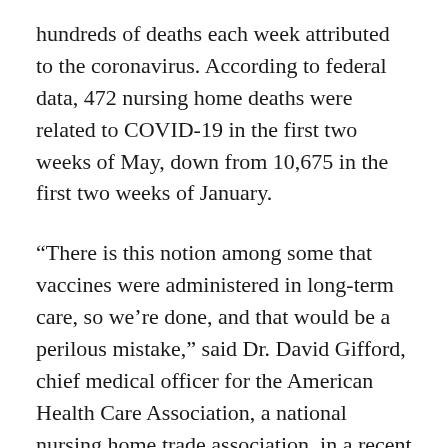hundreds of deaths each week attributed to the coronavirus. According to federal data, 472 nursing home deaths were related to COVID-19 in the first two weeks of May, down from 10,675 in the first two weeks of January.
“There is this notion among some that vaccines were administered in long-term care, so we’re done, and that would be a perilous mistake,” said Dr. David Gifford, chief medical officer for the American Health Care Association, a national nursing home trade association, in a recent statement. “Nursing homes and assisted living communities have a constant flow of new residents, whether coming from the hospital or the community, and many of them haven’t been vaccinated